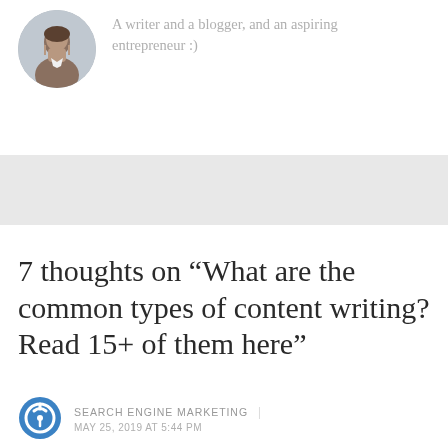[Figure (photo): Circular author profile photo showing a man in a white shirt]
A writer and a blogger, and an aspiring entrepreneur :)
[Figure (other): Gray horizontal banner/advertisement bar]
7 thoughts on “What are the common types of content writing? Read 15+ of them here”
[Figure (logo): Blue circular power/comment icon logo]
SEARCH ENGINE MARKETING
MAY 25, 2019 AT 5:44 PM